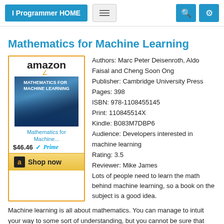I Programmer HOME
Mathematics for Machine Learning
[Figure (other): Amazon book widget showing Mathematics for Machine Learning book cover with price $46.46 and Amazon Prime logo, Shop now button]
Authors: Marc Peter Deisenroth, Aldo Faisal and Cheng Soon Ong
Publisher: Cambridge University Press
Pages: 398
ISBN: 978-1108455145
Print: 110845514X
Kindle: B083M7DBP6
Audience: Developers interested in machine learning
Rating: 3.5
Reviewer: Mike James
Lots of people need to learn the math behind machine learning, so a book on the subject is a good idea.
Machine learning is all about mathematics. You can manage to intuit your way to some sort of understanding, but you cannot be sure that your intuition holds when you push it beyond the norms without